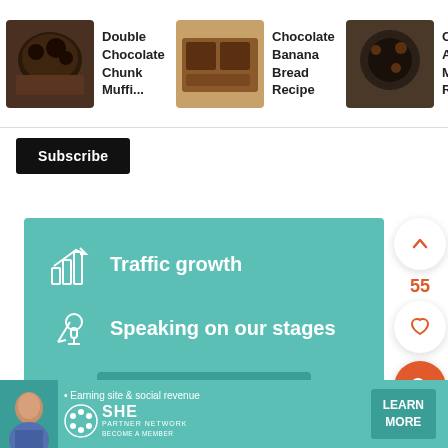[Figure (screenshot): Horizontal recipe card strip showing three recipes: 'Double Chocolate Chunk Muffi...', 'Chocolate Banana Bread Recipe', and 'Chocolate Avocado Muffins Re' each with a thumbnail food photo]
Subscribe
[Figure (infographic): Teal banner with icons for 'Traffic growth' (bar chart icon) and 'Speaking on our stages' (microphone icon) with a LEARN MORE button]
55
15)Add in dark chocolate chips
[Figure (photo): Close-up photo of batter with dark chocolate chips being mixed in a bowl]
[Figure (infographic): SHE Partner Network banner at bottom: '• Earning site & social revenue', SHE logo, PARTNER NETWORK, BECOME A MEMBER, LEARN MORE button, with person avatar on left]